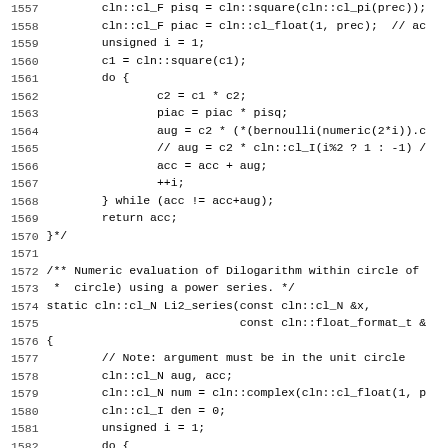Source code listing lines 1557-1588, C++ implementation of Dilogarithm numeric evaluation functions